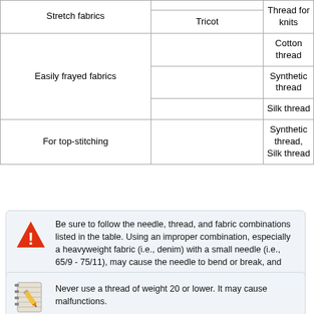|  |  |  |
| --- | --- | --- |
| Stretch fabrics | Tricot |  | Thread for knits |
| Easily frayed fabrics |  | Cotton thread |
| Easily frayed fabrics |  | Synthetic thread |
| Easily frayed fabrics |  | Silk thread |
| For top-stitching |  | Synthetic thread, Silk thread |
Be sure to follow the needle, thread, and fabric combinations listed in the table. Using an improper combination, especially a heavyweight fabric (i.e., denim) with a small needle (i.e., 65/9 - 75/11), may cause the needle to bend or break, and lead to injury. Also, the seam may be uneven, the fabric may pucker, or the machine may skip stitches.
Never use a thread of weight 20 or lower. It may cause malfunctions.